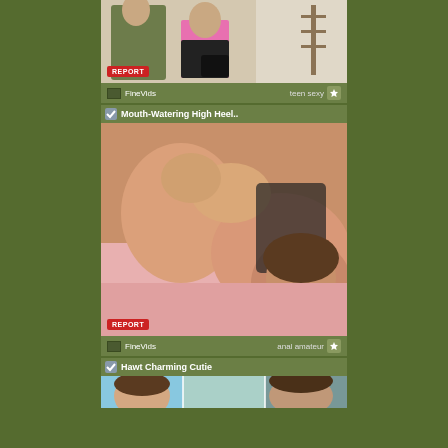[Figure (photo): Video thumbnail showing two people in a room, one in a pink striped top]
FineVids  teen sexy
Mouth-Watering High Heel..
[Figure (photo): Video thumbnail showing adult content]
FineVids  anal amateur
Hawt Charming Cutie
[Figure (photo): Partial video thumbnail at bottom of page]